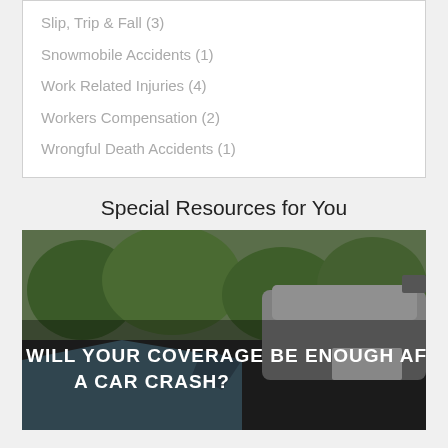Slip, Trip & Fall (3)
Snowmobile Accidents (1)
Work Related Injuries (4)
Workers Compensation (2)
Wrongful Death Accidents (1)
Special Resources for You
[Figure (photo): Two crashed cars with text overlay reading 'WILL YOUR COVERAGE BE ENOUGH AFTER A CAR CRASH?']